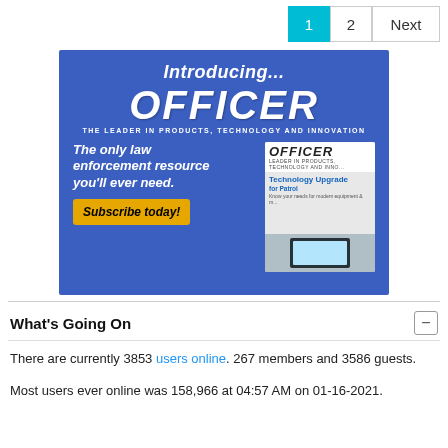1  2  Next
[Figure (illustration): Advertisement banner for OFFICER magazine with blue background. Text reads: 'Introducing... OFFICER - THE LEADER IN PRODUCTS, TECHNOLOGY AND INNOVATION. The only law enforcement resource you'll ever need. Subscribe today!' with a magazine cover image on the right showing a tablet device and 'Technology Upgrade for Patrol' headline.]
What's Going On
There are currently 3853 users online. 267 members and 3586 guests.
Most users ever online was 158,966 at 04:57 AM on 01-16-2021.